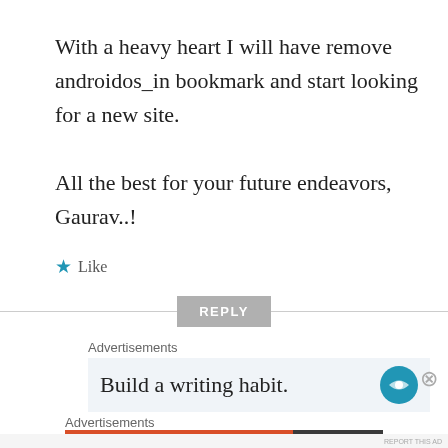With a heavy heart I will have remove androidos_in bookmark and start looking for a new site.

All the best for your future endeavors, Gaurav..!
★ Like
REPLY
Advertisements
Build a writing habit.
Advertisements
[Figure (screenshot): DuckDuckGo advertisement banner: Search, browse, and email with more privacy. All in One Free App. DuckDuckGo logo on dark background.]
REPORT THIS AD